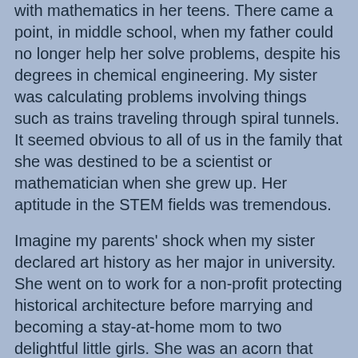with mathematics in her teens. There came a point, in middle school, when my father could no longer help her solve problems, despite his degrees in chemical engineering. My sister was calculating problems involving things such as trains traveling through spiral tunnels. It seemed obvious to all of us in the family that she was destined to be a scientist or mathematician when she grew up. Her aptitude in the STEM fields was tremendous.
Imagine my parents' shock when my sister declared art history as her major in university. She went on to work for a non-profit protecting historical architecture before marrying and becoming a stay-at-home mom to two delightful little girls. She was an acorn that grew into a daffodil! I say that not to devalue what she has done. Hers is a well-lived and splendid life and daffodils have intrinsic value. But they are a shock when one expects an oak.
Children are unpredictable. Their life trajectories are hugely unpredictable. And, in many ways, Autistic children are even more so. Although I believe that autism is nothing new and Autistic people have always been among us (though